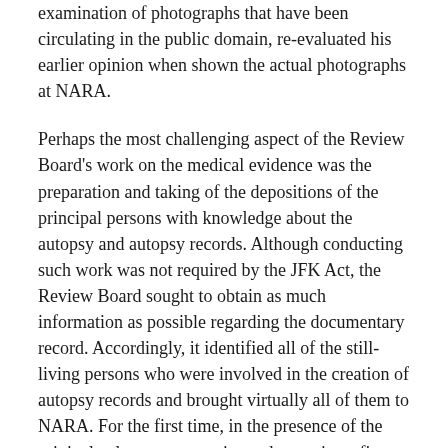examination of photographs that have been circulating in the public domain, re-evaluated his earlier opinion when shown the actual photographs at NARA.
Perhaps the most challenging aspect of the Review Board's work on the medical evidence was the preparation and taking of the depositions of the principal persons with knowledge about the autopsy and autopsy records. Although conducting such work was not required by the JFK Act, the Review Board sought to obtain as much information as possible regarding the documentary record. Accordingly, it identified all of the still-living persons who were involved in the creation of autopsy records and brought virtually all of them to NARA. For the first time, in the presence of the original color transparencies and sometimes first-generation black-and-white prints, the witnesses were asked questions about the authenticity of the photographs, the completeness of the autopsy records, the apparent gaps in the records, and any additional information in their possession regarding the medical evidence. The witnesses came from as far away as Switzerland (Dr. Pierre Finck) and as close as Maryland (Dr. "J" Thornton Boswell). In conducting the depositions, the Review Board staff sought to approach the